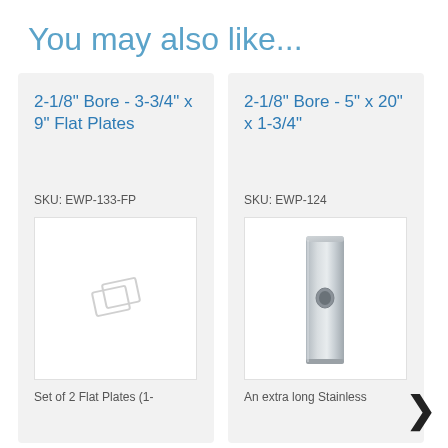You may also like...
2-1/8" Bore - 3-3/4" x 9" Flat Plates
SKU: EWP-133-FP
[Figure (photo): Two small flat plate hardware pieces shown as icons with light gray color]
Set of 2 Flat Plates (1-
2-1/8" Bore - 5" x 20" x 1-3/4"
SKU: EWP-124
[Figure (photo): An extra long stainless steel flat plate with bore hole, rendered in silver 3D illustration]
An extra long Stainless